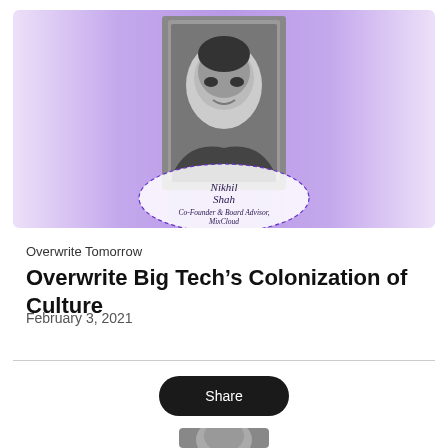[Figure (photo): Purple/lavender gradient banner with a black-and-white headshot photo of Nikhil Shah centered at the top, and a dashed oval label below reading 'Nikhil Shah, Co-Founder & Board Advisor, MixCloud']
Overwrite Tomorrow
Overwrite Big Tech’s Colonization of Culture
February 3, 2021
[Figure (other): Dark rounded pill-shaped Share button]
[Figure (photo): Partial black-and-white headshot photo at bottom of page]